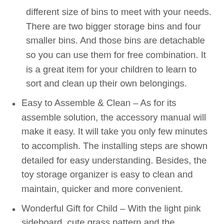different size of bins to meet with your needs. There are two bigger storage bins and four smaller bins. And those bins are detachable so you can use them for free combination. It is a great item for your children to learn to sort and clean up their own belongings.
Easy to Assemble & Clean – As for its assemble solution, the accessory manual will make it easy. It will take you only few minutes to accomplish. The installing steps are shown detailed for easy understanding. Besides, the toy storage organizer is easy to clean and maintain, quicker and more convenient.
Wonderful Gift for Child – With the light pink sideboard, cute grass pattern and the multicolor bins, our kids toy storage organizer is popular among young children. They are more likely to pay their attention to the vibrant color and will more pleasant to get